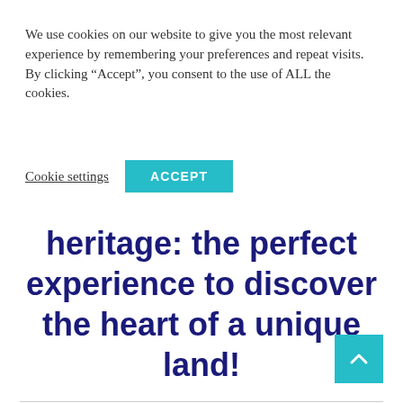We use cookies on our website to give you the most relevant experience by remembering your preferences and repeat visits. By clicking “Accept”, you consent to the use of ALL the cookies.
Cookie settings | ACCEPT
heritage: the perfect experience to discover the heart of a unique land!